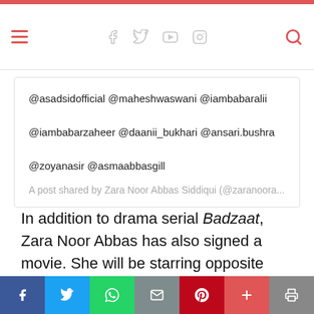Navigation header with hamburger menu, social icons (Facebook, Twitter, YouTube, Instagram), and search icon
@asadsidofficial @maheshwaswani @iambabaralii
@iambabarzaheer @daanii_bukhari @ansari.bushra
@zoyanasir @asmaabbasgill
A post shared by Zara Noor Abbas Siddiqui (@zaranoora...
In addition to drama serial Badzaat, Zara Noor Abbas has also signed a movie. She will be starring opposite Fawad Khan and Sanam Saeed in Haseeb Hasan's upcoming film about the Pakistan Navy. Let's wait and see what the future holds in store for the actress.
Social share bar: Facebook, Twitter, WhatsApp, Email, Pinterest, Plus, Print